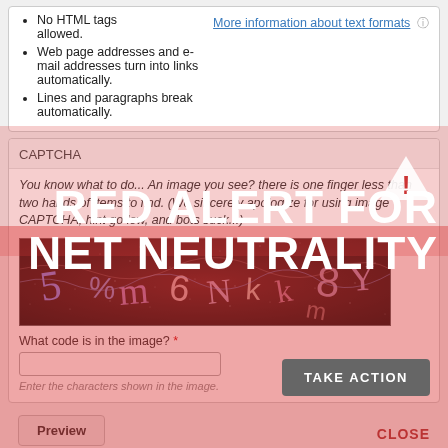No HTML tags allowed.
Web page addresses and e-mail addresses turn into links automatically.
Lines and paragraphs break automatically.
More information about text formats
CAPTCHA
You know what to do... An image you see? there is one finger less than two hands of items to find. (We sincerely apologize for using image CAPTCHA, hint go low, and bots suck...)
[Figure (other): CAPTCHA image with distorted alphanumeric characters on dark speckled background]
What code is in the image? *
Enter the characters shown in the image.
RED ALERT FOR NET NEUTRALITY
TAKE ACTION
Preview
CLOSE